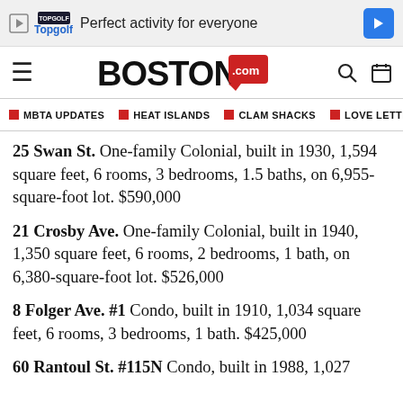[Figure (other): Advertisement banner for Topgolf: 'Perfect activity for everyone' with Topgolf logo and navigation arrow]
[Figure (logo): Boston.com logo with hamburger menu, search icon, and calendar icon]
MBTA UPDATES  HEAT ISLANDS  CLAM SHACKS  LOVE LETTE
25 Swan St. One-family Colonial, built in 1930, 1,594 square feet, 6 rooms, 3 bedrooms, 1.5 baths, on 6,955-square-foot lot. $590,000
21 Crosby Ave. One-family Colonial, built in 1940, 1,350 square feet, 6 rooms, 2 bedrooms, 1 bath, on 6,380-square-foot lot. $526,000
8 Folger Ave. #1 Condo, built in 1910, 1,034 square feet, 6 rooms, 3 bedrooms, 1 bath. $425,000
60 Rantoul St. #115N Condo, built in 1988, 1,027